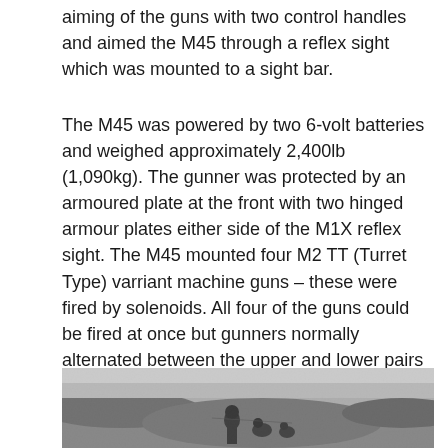aiming of the guns with two control handles and aimed the M45 through a reflex sight which was mounted to a sight bar.
The M45 was powered by two 6-volt batteries and weighed approximately 2,400lb (1,090kg). The gunner was protected by an armoured plate at the front with two hinged armour plates either side of the M1X reflex sight. The M45 mounted four M2 TT (Turret Type) varriant machine guns – these were fired by solenoids. All four of the guns could be fired at once but gunners normally alternated between the upper and lower pairs in order to allow the guns to cool and loaders to replenish the drums.
[Figure (photo): Black and white historical photograph showing soldiers or military personnel outdoors in a field or rough terrain setting.]